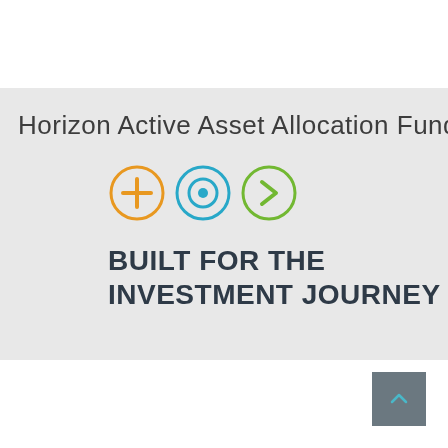Horizon Active Asset Allocation Fund
[Figure (infographic): Three circular icons in a row: orange plus sign circle, teal/blue target/record circle, green right-arrow circle]
BUILT FOR THE INVESTMENT JOURNEY
[Figure (other): Gray square navigation button with a small upward-pointing arrow icon in teal]